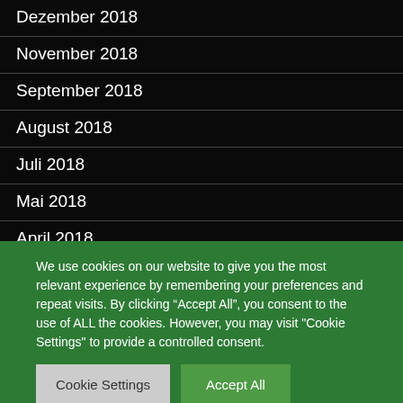Dezember 2018
November 2018
September 2018
August 2018
Juli 2018
Mai 2018
April 2018
We use cookies on our website to give you the most relevant experience by remembering your preferences and repeat visits. By clicking “Accept All”, you consent to the use of ALL the cookies. However, you may visit "Cookie Settings" to provide a controlled consent.
Cookie Settings | Accept All